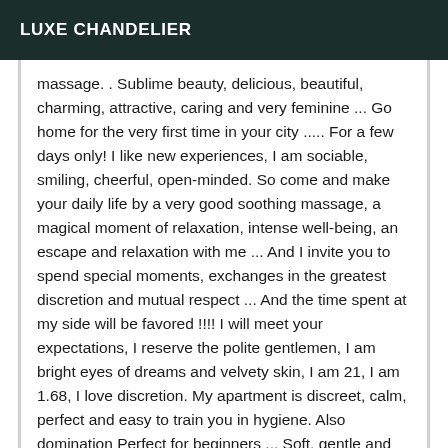LUXE CHANDELIER
massage. . Sublime beauty, delicious, beautiful, charming, attractive, caring and very feminine ... Go home for the very first time in your city ..... For a few days only! I like new experiences, I am sociable, smiling, cheerful, open-minded. So come and make your daily life by a very good soothing massage, a magical moment of relaxation, intense well-being, an escape and relaxation with me ... And I invite you to spend special moments, exchanges in the greatest discretion and mutual respect ... And the time spent at my side will be favored !!!! I will meet your expectations, I reserve the polite gentlemen, I am bright eyes of dreams and velvety skin, I am 21, I am 1.68, I love discretion. My apartment is discreet, calm, perfect and easy to train you in hygiene. Also domination Perfect for beginners ... Soft, gentle and press pass! NB: All my photos are authentic You can check for yourself ... 100% REAL Affectionate